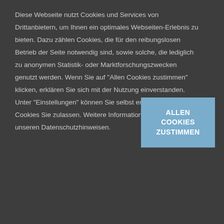Diese Webseite nutzt Cookies und Services von Drittanbietern, um Ihnen ein optimales Webseiten-Erlebnis zu bieten. Dazu zählen Cookies, die für den reibungslosen Betrieb der Seite notwendig sind, sowie solche, die lediglich zu anonymen Statistik- oder Marktforschungszwecken genutzt werden. Wenn Sie auf 'Allen Cookies zustimmen' klicken, erklären Sie sich mit der Nutzung einverstanden. Unter 'Einstellungen' können Sie selbst entscheiden, welche Cookies Sie zulassen. Weitere Informationen finden Sie in unseren Datenschutzhinweisen.
[Figure (other): Blue button labeled ALLEN COOKIES ZUSTIMMEN]